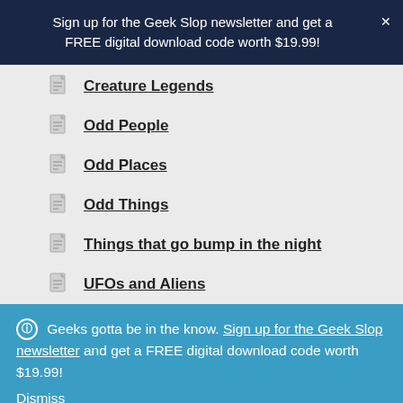Sign up for the Geek Slop newsletter and get a FREE digital download code worth $19.99!
Creature Legends
Odd People
Odd Places
Odd Things
Things that go bump in the night
UFOs and Aliens
Geeks gotta be in the know. Sign up for the Geek Slop newsletter and get a FREE digital download code worth $19.99! Dismiss